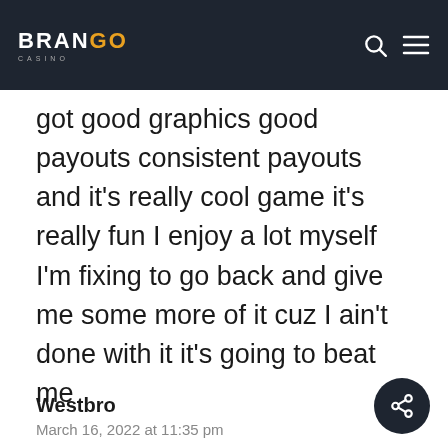BRANGO CASINO — navigation header
got good graphics good payouts consistent payouts and it's really cool game it's really fun I enjoy a lot myself I'm fixing to go back and give me some more of it cuz I ain't done with it it's going to beat me
Westbro
March 16, 2022 at 11:35 pm